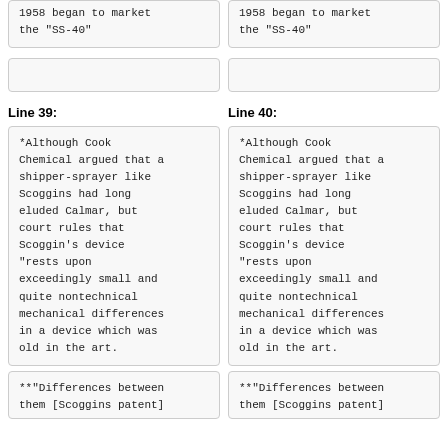1958 began to market the "SS-40"
1958 began to market the "SS-40"
Line 39:
Line 40:
*Although Cook Chemical argued that a shipper-sprayer like Scoggins had long eluded Calmar, but court rules that Scoggin's device "rests upon exceedingly small and quite nontechnical mechanical differences in a device which was old in the art.
*Although Cook Chemical argued that a shipper-sprayer like Scoggins had long eluded Calmar, but court rules that Scoggin's device "rests upon exceedingly small and quite nontechnical mechanical differences in a device which was old in the art.
**"Differences between them [Scoggins patent]
**"Differences between them [Scoggins patent]